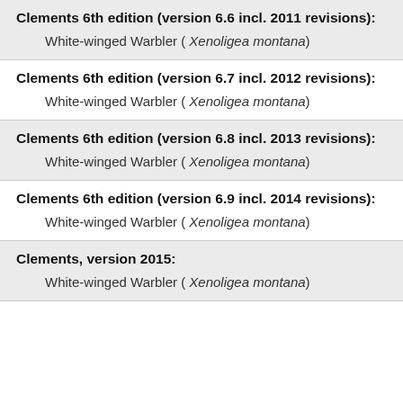Clements 6th edition (version 6.6 incl. 2011 revisions): White-winged Warbler ( Xenoligea montana)
Clements 6th edition (version 6.7 incl. 2012 revisions): White-winged Warbler ( Xenoligea montana)
Clements 6th edition (version 6.8 incl. 2013 revisions): White-winged Warbler ( Xenoligea montana)
Clements 6th edition (version 6.9 incl. 2014 revisions): White-winged Warbler ( Xenoligea montana)
Clements, version 2015: White-winged Warbler ( Xenoligea montana)